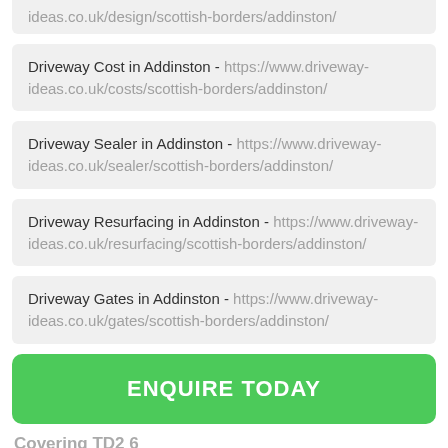ideas.co.uk/design/scottish-borders/addinston/
Driveway Cost in Addinston - https://www.driveway-ideas.co.uk/costs/scottish-borders/addinston/
Driveway Sealer in Addinston - https://www.driveway-ideas.co.uk/sealer/scottish-borders/addinston/
Driveway Resurfacing in Addinston - https://www.driveway-ideas.co.uk/resurfacing/scottish-borders/addinston/
Driveway Gates in Addinston - https://www.driveway-ideas.co.uk/gates/scottish-borders/addinston/
ENQUIRE TODAY
Covering TD2 6